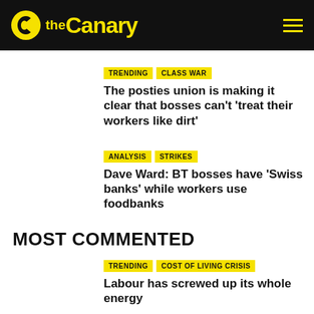the Canary
TRENDING | CLASS WAR — The posties union is making it clear that bosses can't 'treat their workers like dirt'
ANALYSIS | STRIKES — Dave Ward: BT bosses have 'Swiss banks' while workers use foodbanks
MOST COMMENTED
TRENDING | COST OF LIVING CRISIS — Labour has screwed up its whole energy